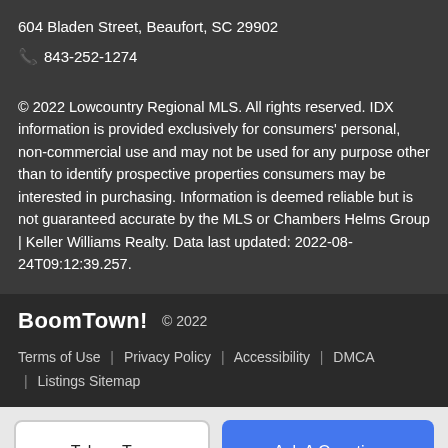604 Bladen Street, Beaufort, SC 29902
📞 843-252-1274
© 2022 Lowcountry Regional MLS. All rights reserved. IDX information is provided exclusively for consumers' personal, non-commercial use and may not be used for any purpose other than to identify prospective properties consumers may be interested in purchasing. Information is deemed reliable but is not guaranteed accurate by the MLS or Chambers Helms Group | Keller Williams Realty. Data last updated: 2022-08-24T09:12:39.257.
BoomTown! © 2022 Terms of Use | Privacy Policy | Accessibility | DMCA | Listings Sitemap
Take a Tour | Ask A Question